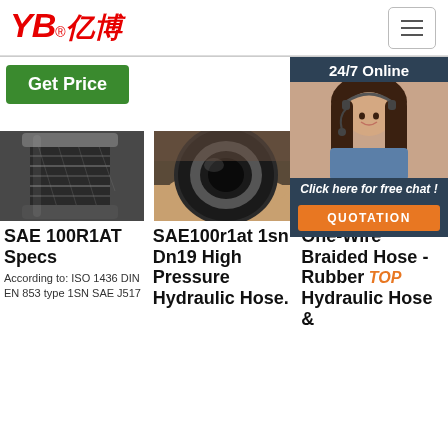[Figure (logo): YB亿博 red logo with registered trademark]
[Figure (infographic): 24/7 Online customer service panel with woman in headset, 'Click here for free chat!', and QUOTATION button]
Get Price
[Figure (photo): Braided hydraulic hose close-up, steel wire reinforcement visible]
[Figure (photo): SAE100r1at 1sn Dn19 hose end cross section view]
[Figure (photo): One-Wire braided rubber hydraulic hose end view]
SAE 100R1AT Specs
According to: ISO 1436 DIN EN 853 type 1SN SAE J517
SAE100r1at 1sn Dn19 High Pressure Hydraulic Hose.
One-Wire Braided Hose - Rubber Hydraulic Hose &